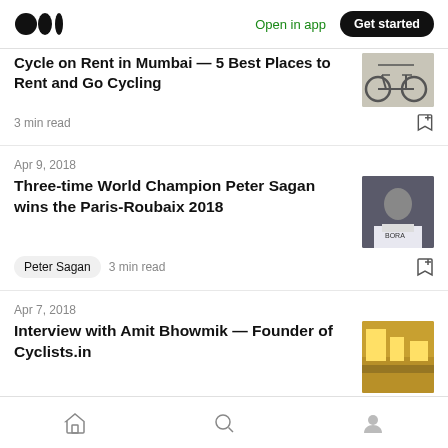Medium logo | Open in app | Get started
Cycle on Rent in Mumbai — 5 Best Places to Rent and Go Cycling
3 min read
Apr 9, 2018
Three-time World Champion Peter Sagan wins the Paris-Roubaix 2018
Peter Sagan  3 min read
Apr 7, 2018
Interview with Amit Bhowmik — Founder of Cyclists.in
Home | Search | Profile